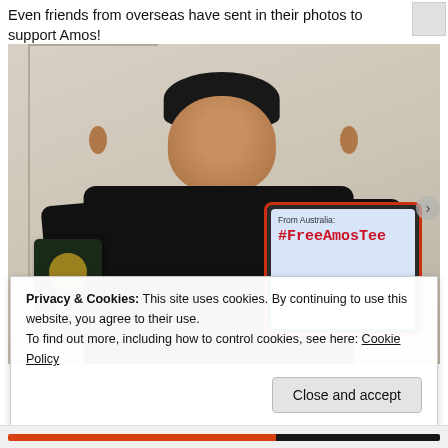Even friends from overseas have sent in their photos to support Amos!
[Figure (photo): A man in a black t-shirt holding an Australian passport in his left hand and a tablet in his right hand. The tablet displays text reading 'From Australia: #FreeAmosTee' in red handwriting on a light blue background. The person is standing against a light-coloured wall with a door visible.]
Privacy & Cookies: This site uses cookies. By continuing to use this website, you agree to their use.
To find out more, including how to control cookies, see here: Cookie Policy
Close and accept